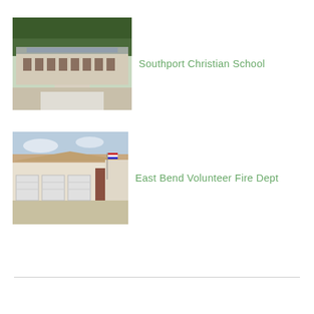[Figure (photo): Aerial/elevated view of Southport Christian School building, a long single-story structure with solar panels on roof, surrounded by trees and paved walkways]
Southport Christian School
[Figure (photo): Exterior photo of East Bend Volunteer Fire Dept, a large white and brown metal building with multiple garage bays and an American flag]
East Bend Volunteer Fire Dept